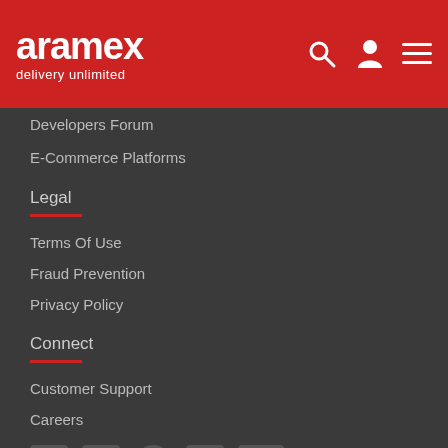aramex delivery unlimited
Developers Forum
E-Commerce Platforms
Legal
Terms Of Use
Fraud Prevention
Privacy Policy
Connect
Customer Support
Careers
[Figure (illustration): Social media icons: Facebook, Twitter, Instagram, LinkedIn, YouTube]